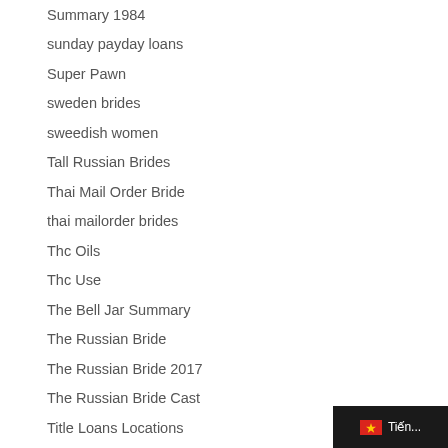Summary 1984
sunday payday loans
Super Pawn
sweden brides
sweedish women
Tall Russian Brides
Thai Mail Order Bride
thai mailorder brides
Thc Oils
Thc Use
The Bell Jar Summary
The Russian Bride
The Russian Bride 2017
The Russian Bride Cast
Title Loans Locations